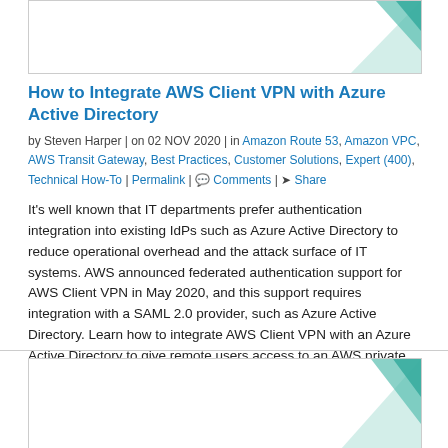[Figure (illustration): Top article header image box with teal geometric decoration in top-right corner]
How to Integrate AWS Client VPN with Azure Active Directory
by Steven Harper | on 02 NOV 2020 | in Amazon Route 53, Amazon VPC, AWS Transit Gateway, Best Practices, Customer Solutions, Expert (400), Technical How-To | Permalink | Comments | Share
It's well known that IT departments prefer authentication integration into existing IdPs such as Azure Active Directory to reduce operational overhead and the attack surface of IT systems. AWS announced federated authentication support for AWS Client VPN in May 2020, and this support requires integration with a SAML 2.0 provider, such as Azure Active Directory. Learn how to integrate AWS Client VPN with an Azure Active Directory to give remote users access to an AWS private VPCs..
Read More
[Figure (illustration): Bottom article header image box with teal geometric decoration in top-right corner]